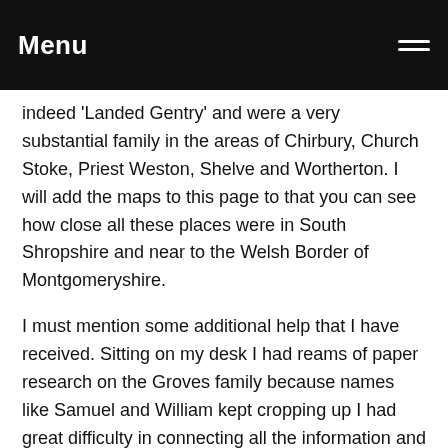Menu
indeed ‘Landed Gentry’ and were a very substantial family in the areas of Chirbury, Church Stoke, Priest Weston, Shelve and Wortherton.  I will add the maps to this page to that you can see how close all these places were in South Shropshire and near to the Welsh Border of Montgomeryshire.
I must mention some additional help that I have received.  Sitting on my desk I had reams of paper research on the Groves family because names like Samuel and William kept cropping up I had great difficulty in connecting all the information and I wasn’t even sure at times whether I was on the right track.  Therefore, because I had two aunties in their 99th and 93rd year I decided to enlist the help of a research firm.   This for me was extremely helpful, not as expensive as I thought and turned out to be good value for money and the research they did on my behalf tied